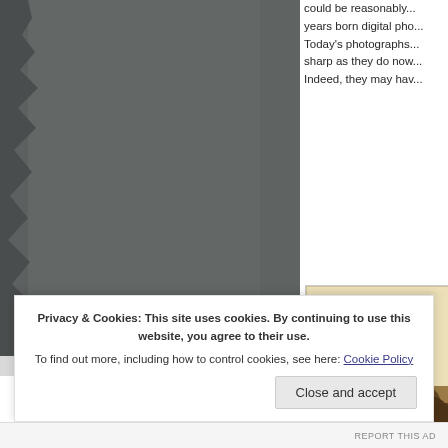[Figure (photo): Large dark gray photograph filling the left portion of the page, with a torn or rough left edge creating an organic border effect. The image appears to be a dark, shadowy photograph.]
could be reasonably... years born digital pho... Today's photographs... sharp as they do now... Indeed, they may hav...
[Figure (photo): Vintage sepia-toned photograph in the bottom right area, showing a cream/ivory upper portion and a darker brown lower area with what appears to be a tree or foliage silhouette.]
Privacy & Cookies: This site uses cookies. By continuing to use this website, you agree to their use.
To find out more, including how to control cookies, see here: Cookie Policy
Close and accept
REPORT THIS AD